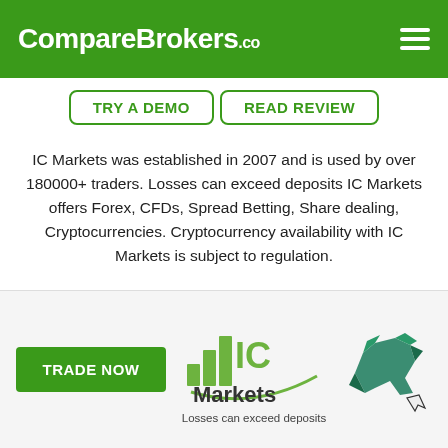CompareBrokers.co
TRY A DEMO | READ REVIEW
IC Markets was established in 2007 and is used by over 180000+ traders. Losses can exceed deposits IC Markets offers Forex, CFDs, Spread Betting, Share dealing, Cryptocurrencies. Cryptocurrency availability with IC Markets is subject to regulation.
Funding methods
Platforms
MT4, MT5, Mirror...
[Figure (logo): IC Markets logo with bar chart icon]
[Figure (illustration): Green origami bull with cursor icon]
TRADE NOW
Losses can exceed deposits